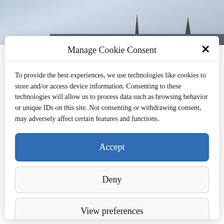[Figure (photo): Cityscape photo showing sky with clouds and dark building spires/rooftops at the bottom]
Manage Cookie Consent
To provide the best experiences, we use technologies like cookies to store and/or access device information. Consenting to these technologies will allow us to process data such as browsing behavior or unique IDs on this site. Not consenting or withdrawing consent, may adversely affect certain features and functions.
Accept
Deny
View preferences
Cookie Policy   Privacy